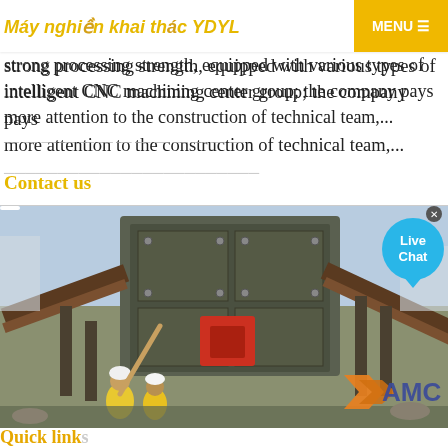Máy nghiền khai thác YDYL  |  MENU
crusher manufacturer. YDYL has a modern, high standard advanced machinery park. The company has a strong processing strength, equipped with various types of intelligent CNC machining center group; the company pays more attention to the construction of technical team,...
Contact us
[Figure (photo): Industrial crusher/mining equipment being assembled or inspected by workers in hard hats and safety vests at a construction or mining site. Large heavy machinery visible including conveyor structures and processing equipment. AMC logo overlay visible in bottom right corner.]
Quick links